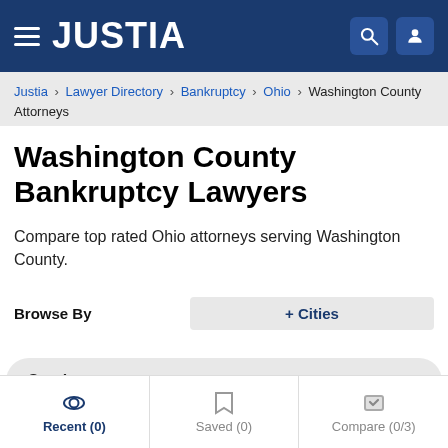JUSTIA
Justia › Lawyer Directory › Bankruptcy › Ohio › Washington County Attorneys
Washington County Bankruptcy Lawyers
Compare top rated Ohio attorneys serving Washington County.
Browse By
+ Cities
Services
Recent (0)
Saved (0)
Compare (0/3)